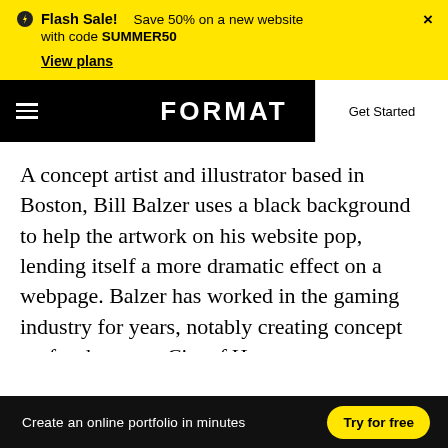Flash Sale! Save 50% on a new website with code SUMMER50. View plans
FORMAT — Get Started
A concept artist and illustrator based in Boston, Bill Balzer uses a black background to help the artwork on his website pop, lending itself a more dramatic effect on a webpage. Balzer has worked in the gaming industry for years, notably creating concept art for the game City of Heroes.
Create an online portfolio in minutes  Try for free